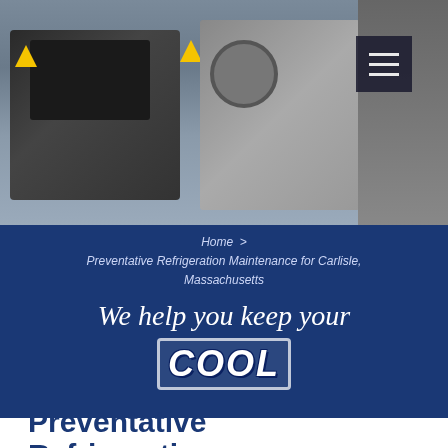[Figure (photo): Industrial refrigeration compressor equipment with black compressor units, yellow warning labels, and grey metal casing. Hamburger menu button in top right corner.]
Home > Preventative Refrigeration Maintenance for Carlisle, Massachusetts
We help you keep your COOL
Preventative Refrigeration